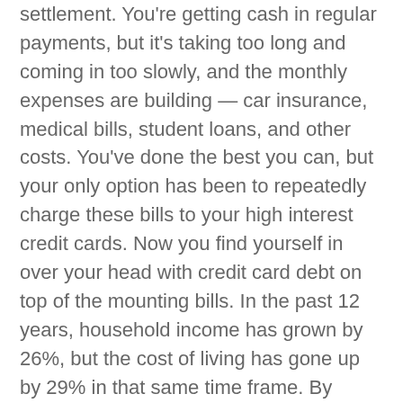settlement. You're getting cash in regular payments, but it's taking too long and coming in too slowly, and the monthly expenses are building — car insurance, medical bills, student loans, and other costs. You've done the best you can, but your only option has been to repeatedly charge these bills to your high interest credit cards. Now you find yourself in over your head with credit card debt on top of the mounting bills. In the past 12 years, household income has grown by 26%, but the cost of living has gone up by 29% in that same time frame. By selling your annuity, you can finally have access to the lump sum you need to pay off your debt.
Credit card debt and financial challenges affect an overwhelming number of American households. The average U.S. household that faces debt carries almost $130,000 in total debt, with over $15,000 of